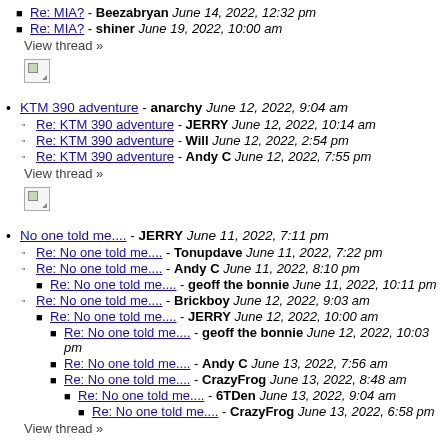Re: MIA? - Beezabryan June 14, 2022, 12:32 pm
Re: MIA? - shiner June 19, 2022, 10:00 am
View thread »
[Figure (other): Broken image placeholder]
KTM 390 adventure - anarchy June 12, 2022, 9:04 am
Re: KTM 390 adventure - JERRY June 12, 2022, 10:14 am
Re: KTM 390 adventure - Will June 12, 2022, 2:54 pm
Re: KTM 390 adventure - Andy C June 12, 2022, 7:55 pm
View thread »
[Figure (other): Broken image placeholder]
No one told me.... - JERRY June 11, 2022, 7:11 pm
Re: No one told me.... - Tonupdave June 11, 2022, 7:22 pm
Re: No one told me.... - Andy C June 11, 2022, 8:10 pm
Re: No one told me.... - geoff the bonnie June 11, 2022, 10:11 pm
Re: No one told me.... - Brickboy June 12, 2022, 9:03 am
Re: No one told me.... - JERRY June 12, 2022, 10:00 am
Re: No one told me.... - geoff the bonnie June 12, 2022, 10:03 pm
Re: No one told me.... - Andy C June 13, 2022, 7:56 am
Re: No one told me.... - CrazyFrog June 13, 2022, 8:48 am
Re: No one told me.... - 6TDen June 13, 2022, 9:04 am
Re: No one told me.... - CrazyFrog June 13, 2022, 6:58 pm
View thread »